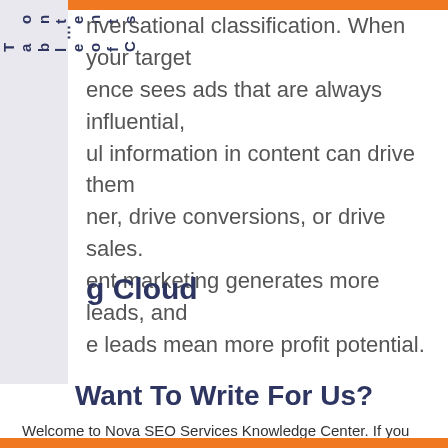nversational classification. When your target ence sees ads that are always influential, ul information in content can drive them ner, drive conversions, or drive sales. ent marketing generates more leads, and e leads mean more profit potential.
Table of Contents
g Cloud
Want To Write For Us?
Welcome to Nova SEO Services Knowledge Center. If you would like to contribute, kindly visit this link